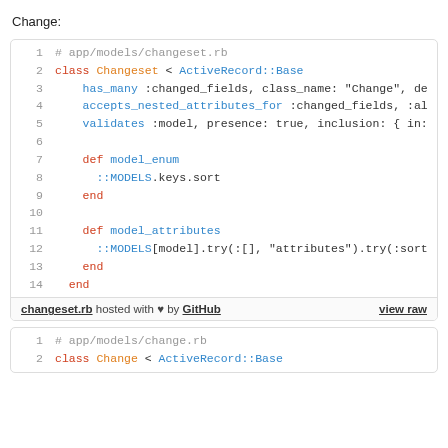Change:
[Figure (screenshot): Code block showing changeset.rb Ruby file with syntax highlighting. Lines 1-14: class Changeset < ActiveRecord::Base with has_many, accepts_nested_attributes_for, validates methods, model_enum and model_attributes methods. Footer shows 'changeset.rb hosted with heart by GitHub' and 'view raw' link.]
[Figure (screenshot): Partial code block showing change.rb Ruby file. Lines 1-2 visible: comment and class Change < ActiveRecord::Base.]